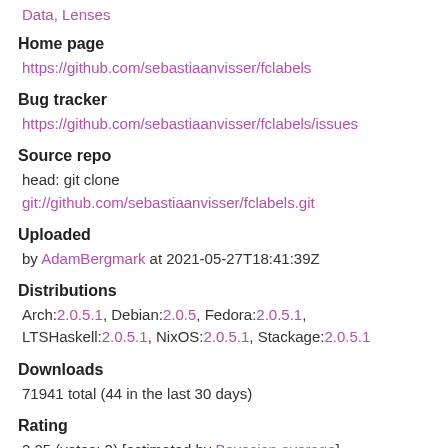Data, Lenses
Home page
https://github.com/sebastiaanvisser/fclabels
Bug tracker
https://github.com/sebastiaanvisser/fclabels/issues
Source repo
head: git clone
git://github.com/sebastiaanvisser/fclabels.git
Uploaded
by AdamBergmark at 2021-05-27T18:41:39Z
Distributions
Arch:2.0.5.1, Debian:2.0.5, Fedora:2.0.5.1, LTSHaskell:2.0.5.1, NixOS:2.0.5.1, Stackage:2.0.5.1
Downloads
71941 total (44 in the last 30 days)
Rating
2.25 (votes: 2) [estimated by Bayesian average]
Your Rating